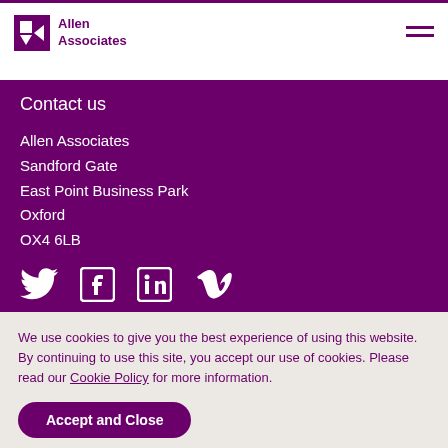Allen Associates
Contact us
Allen Associates
Sandford Gate
East Point Business Park
Oxford
OX4 6LB
[Figure (infographic): Social media icons: Twitter, Facebook, LinkedIn, Vimeo]
We use cookies to give you the best experience of using this website. By continuing to use this site, you accept our use of cookies. Please read our Cookie Policy for more information.
Accept and Close